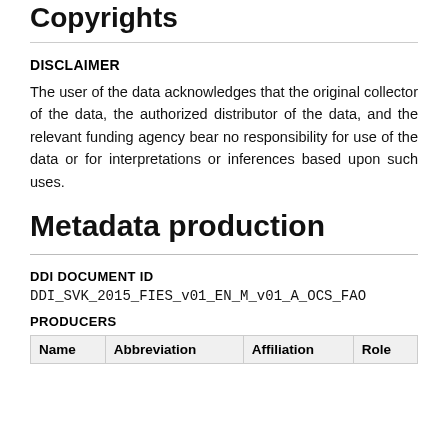Copyrights
DISCLAIMER
The user of the data acknowledges that the original collector of the data, the authorized distributor of the data, and the relevant funding agency bear no responsibility for use of the data or for interpretations or inferences based upon such uses.
Metadata production
DDI DOCUMENT ID
DDI_SVK_2015_FIES_v01_EN_M_v01_A_OCS_FAO
PRODUCERS
| Name | Abbreviation | Affiliation | Role |
| --- | --- | --- | --- |